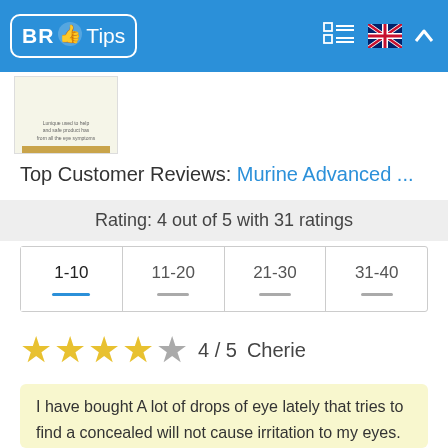BR Tips
[Figure (photo): Product image thumbnail with gold bar at bottom]
Top Customer Reviews: Murine Advanced ...
Rating: 4 out of 5 with 31 ratings
1-10  11-20  21-30  31-40
★★★★☆ 4 / 5  Cherie
I have bought A lot of drops of eye lately that tries to find a concealed will not cause irritation to my eyes. Has some conditions of eye concealed his